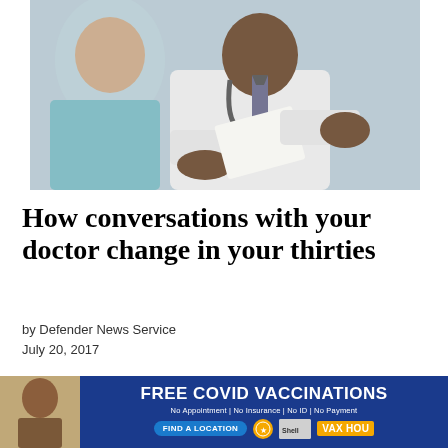[Figure (photo): A doctor in a white coat with a stethoscope sits across from a patient, holding papers, in a medical consultation setting.]
How conversations with your doctor change in your thirties
by Defender News Service
July 20, 2017
[Figure (infographic): Pagination navigation showing page buttons 1 (active/dark), 2, 3, and a next arrow. A close (x) button appears on the right.]
[Figure (infographic): Advertisement banner: FREE COVID VACCINATIONS - No Appointment | No Insurance | No ID | No Payment. FIND A LOCATION button. VAX HOU logo. Shows a woman's portrait on the left side.]